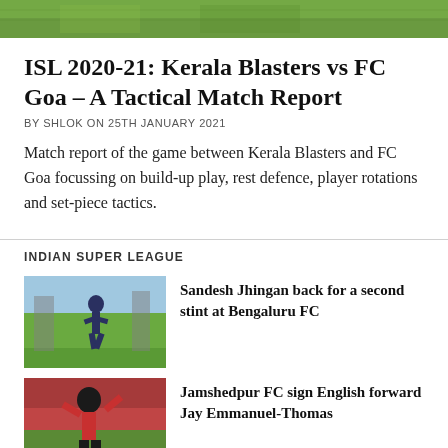[Figure (photo): Green football pitch/field image at the top of the page]
ISL 2020-21: Kerala Blasters vs FC Goa – A Tactical Match Report
BY SHLOK ON 25TH JANUARY 2021
Match report of the game between Kerala Blasters and FC Goa focussing on build-up play, rest defence, player rotations and set-piece tactics.
INDIAN SUPER LEAGUE
[Figure (photo): Sandesh Jhingan running on a football training pitch]
Sandesh Jhingan back for a second stint at Bengaluru FC
[Figure (photo): Jay Emmanuel-Thomas in red jersey celebrating]
Jamshedpur FC sign English forward Jay Emmanuel-Thomas